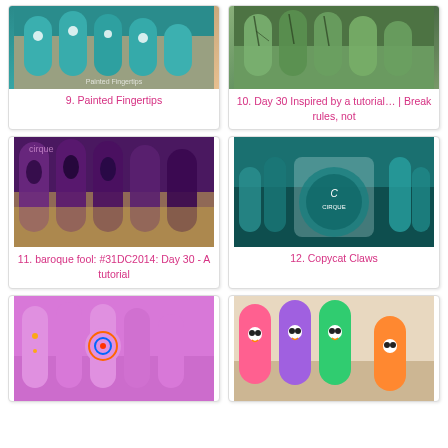[Figure (photo): Close-up photo of teal/green nails with white floral nail art design]
9. Painted Fingertips
[Figure (photo): Close-up photo of green crackle/textured nail art]
10. Day 30 Inspired by a tutorial… | Break rules, not
[Figure (photo): Close-up photo of dark purple/black baroque stamped nail art]
11. baroque fool: #31DC2014: Day 30 - A tutorial
[Figure (photo): Close-up photo of teal ombre nails with Cirque polish bottle]
12. Copycat Claws
[Figure (photo): Close-up photo of pink nails with colorful mandala/henna nail art]
[Figure (photo): Close-up photo of colorful owl character nail art]